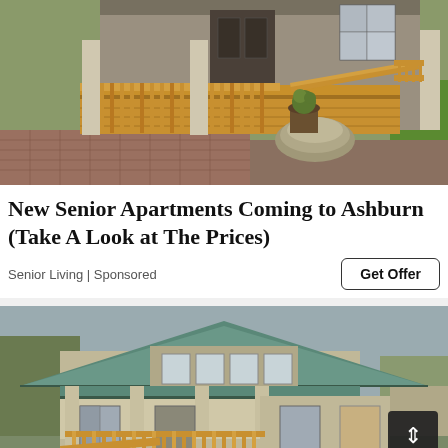[Figure (photo): Exterior photo of a senior apartment home showing a wooden deck/porch with orange-stained wood railings, stone steps, potted plants, and a brick paved driveway area]
New Senior Apartments Coming to Ashburn (Take A Look at The Prices)
Senior Living | Sponsored
[Figure (photo): Exterior photo of a small craftsman-style home with green metal roof, tan siding, wooden front porch with orange railings, and an accessibility ramp; an elevator/lift icon is visible in the lower right corner]